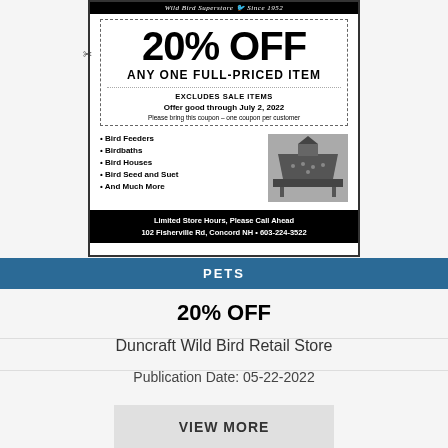[Figure (other): Coupon advertisement for Duncraft Wild Bird Superstore offering 20% OFF any one full-priced item, excludes sale items, good through July 2, 2022, at 102 Fisherville Rd, Concord NH 603-224-3522. Lists Bird Feeders, Birdbaths, Bird Houses, Bird Seed and Suet, And Much More.]
PETS
20% OFF
Duncraft Wild Bird Retail Store
Publication Date: 05-22-2022
VIEW MORE